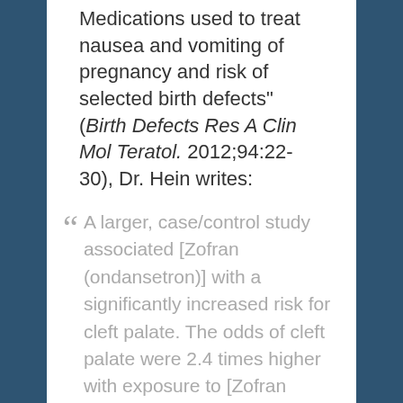Medications used to treat nausea and vomiting of pregnancy and risk of selected birth defects" (Birth Defects Res A Clin Mol Teratol. 2012;94:22-30), Dr. Hein writes:
" A larger, case/control study associated [Zofran (ondansetron)] with a significantly increased risk for cleft palate. The odds of cleft palate were 2.4 times higher with exposure to [Zofran (ondansetron)]